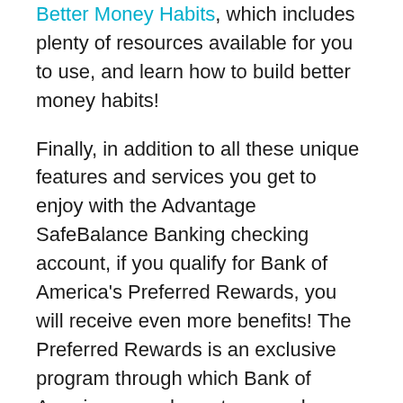Better Money Habits, which includes plenty of resources available for you to use, and learn how to build better money habits!
Finally, in addition to all these unique features and services you get to enjoy with the Advantage SafeBalance Banking checking account, if you qualify for Bank of America's Preferred Rewards, you will receive even more benefits! The Preferred Rewards is an exclusive program through which Bank of America rewards customers who manage to keep a certain amount of money in their eligible Bank of America accounts. There are 3 tiers based on qualifying combined balances: Gold, Platinum, and Platinum Honors. With each of these comes a set of benefits that you get to enjoy 12 months upon qualification!
Enrollment in the Preferred Rewards program is also required to be on the month before the Advantage...